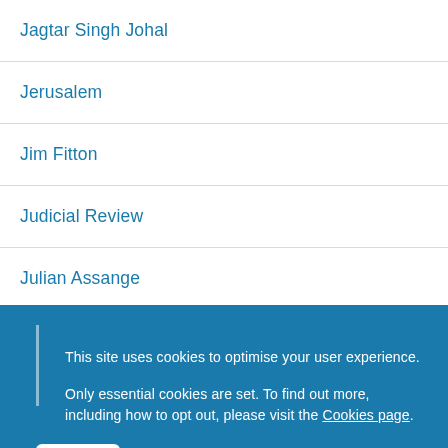Jagtar Singh Johal
Jerusalem
Jim Fitton
Judicial Review
Julian Assange
Junk Food Advertising Ban
This site uses cookies to optimise your user experience.

Only essential cookies are set. To find out more, including how to opt out, please visit the Cookies page.
OK   Hide this message and remember my decision